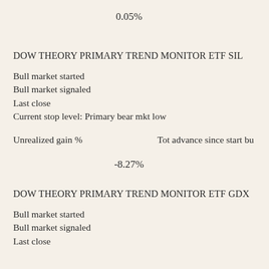0.05%
DOW THEORY PRIMARY TREND MONITOR ETF SIL
Bull market started
Bull market signaled
Last close
Current stop level: Primary bear mkt low
Unrealized gain %              Tot advance since start bu
-8.27%
DOW THEORY PRIMARY TREND MONITOR ETF GDX
Bull market started
Bull market signaled
Last close